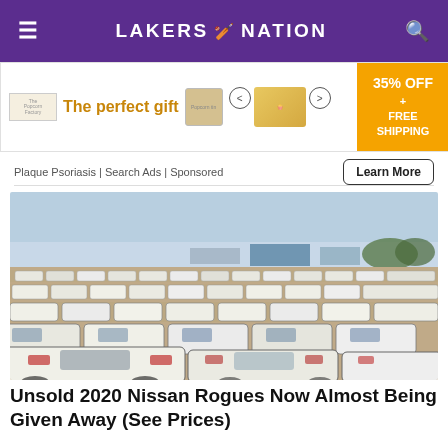LAKERS 🏀 NATION
[Figure (infographic): Advertisement banner: 'The perfect gift' with food product image, navigation arrows, bowl image, and 35% OFF + FREE SHIPPING offer badge]
Plaque Psoriasis | Search Ads | Sponsored
[Figure (photo): Large parking lot filled with rows of white Nissan Rogue SUVs under a clear sky with mountains in the background]
Unsold 2020 Nissan Rogues Now Almost Being Given Away (See Prices)